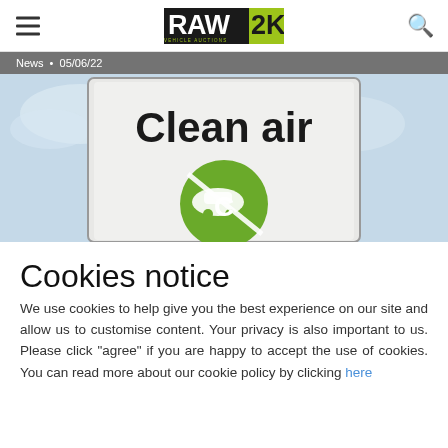RAW2K VEHICLE AUCTIONS
News · 05/06/22
[Figure (photo): A 'Clean air' zone sign featuring a white rectangular sign with bold black text reading 'Clean air' and a green circular emblem with a white car icon and a 'C' symbol, photographed against a light blue sky background.]
Cookies notice
We use cookies to help give you the best experience on our site and allow us to customise content. Your privacy is also important to us. Please click "agree" if you are happy to accept the use of cookies. You can read more about our cookie policy by clicking here